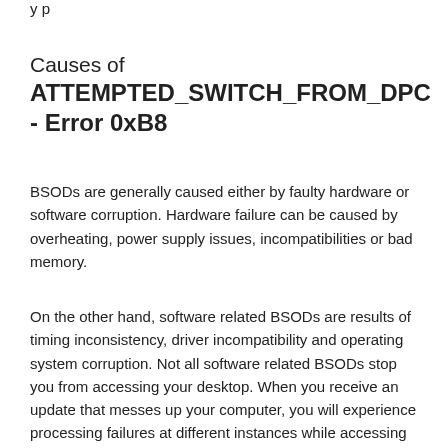y p
Causes of ATTEMPTED_SWITCH_FROM_DPC - Error 0xB8
BSODs are generally caused either by faulty hardware or software corruption. Hardware failure can be caused by overheating, power supply issues, incompatibilities or bad memory.
On the other hand, software related BSODs are results of timing inconsistency, driver incompatibility and operating system corruption. Not all software related BSODs stop you from accessing your desktop. When you receive an update that messes up your computer, you will experience processing failures at different instances while accessing your computer.